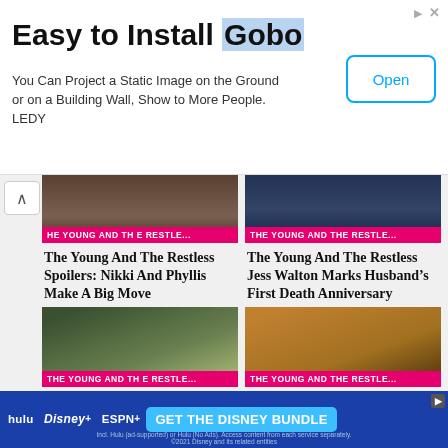[Figure (screenshot): Top advertisement banner for 'Easy to Install Gobo' projector product by LEDY, with Open button]
Easy to Install Gobo
You Can Project a Static Image on the Ground or on a Building Wall, Show to More People. LEDY
[Figure (screenshot): Thumbnail image for The Young And The Restless article, top left, with pink label 'THE YOUNG AND THE RESTLE...']
[Figure (screenshot): Thumbnail image for The Young And The Restless article, top right, with pink label 'THE YOUNG AND THE RESTLE...']
The Young And The Restless Spoilers: Nikki And Phyllis Make A Big Move
The Young And The Restless Jess Walton Marks Husband’s First Death Anniversary
[Figure (screenshot): Thumbnail of a man in suit - The Young And The Restless, bottom left, with pink label]
[Figure (screenshot): Thumbnail of a bald man - The Young And The Restless, bottom right, with pink label]
[Figure (screenshot): Bottom advertisement: Homeowners Are Trading In Their... with house image and Fidelity logo]
Homeowners Are Trading In Their
[Figure (screenshot): Disney Bundle advertisement banner at bottom: hulu, Disney+, ESPN+, GET THE DISNEY BUNDLE]